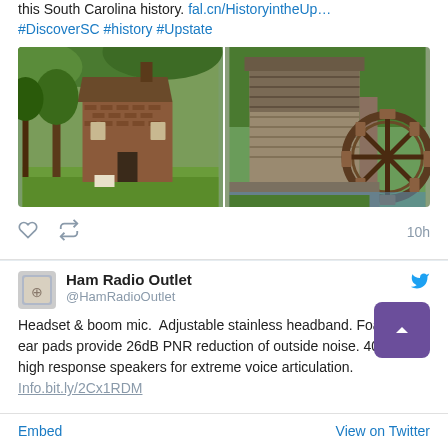this South Carolina history. fal.cn/HistoryintheUp… #DiscoverSC #history #Upstate
[Figure (photo): Two side-by-side photos: left shows a historic brick mill building surrounded by trees; right shows a wooden grist mill with a water wheel]
10h
Ham Radio Outlet @HamRadioOutlet
Headset & boom mic.  Adjustable stainless headband. Foam gel ear pads provide 26dB PNR reduction of outside noise. 40 mil high response speakers for extreme voice articulation.
Embed
View on Twitter